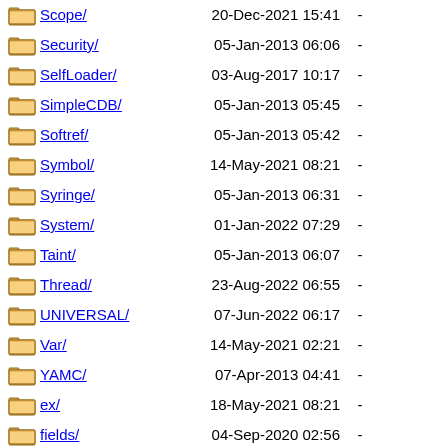Scope/ 20-Dec-2021 15:41 -
Security/ 05-Jan-2013 06:06 -
SelfLoader/ 03-Aug-2017 10:17 -
SimpleCDB/ 05-Jan-2013 05:45 -
Softref/ 05-Jan-2013 05:42 -
Symbol/ 14-May-2021 08:21 -
Syringe/ 05-Jan-2013 06:31 -
System/ 01-Jan-2022 07:29 -
Taint/ 05-Jan-2013 06:07 -
Thread/ 23-Aug-2022 06:55 -
UNIVERSAL/ 07-Jun-2022 06:17 -
Var/ 14-May-2021 02:21 -
YAMC/ 07-Apr-2013 04:41 -
ex/ 18-May-2021 08:21 -
fields/ 04-Sep-2020 02:56 -
Apache/2.2.15 (Oracle) Server at mirror.datapipe.com Port 80